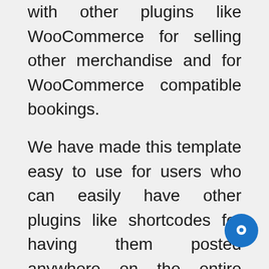with other plugins like WooCommerce for selling other merchandise and for WooCommerce compatible bookings.
We have made this template easy to use for users who can easily have other plugins like shortcodes for having them posted anywhere on the entire website and having their functionality easily created.
Also with most popular plugins already compatible with this bed and breakfast WordPress theme one can be rest assured that adding several features and functionality like contact form or booking forms, eCommerce, pricing tables, recipe sections, gallery, event section and others like SEO and SMO can be